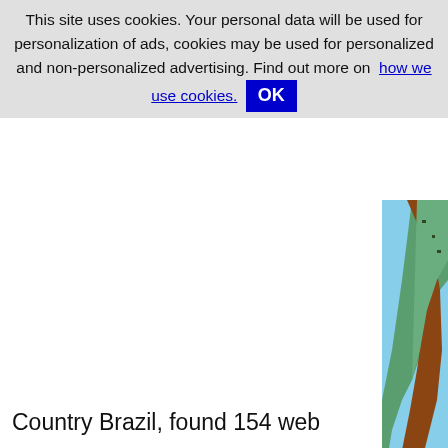This site uses cookies. Your personal data will be used for personalization of ads, cookies may be used for personalized and non-personalized advertising. Find out more on how we use cookies. OK
[Figure (map): Partial map of South America showing Atlantic Ocean (blue) and land masses (green/brown), cropped to upper-right corner]
click on map to watch more ca…
Choose federated state in Brazil (coun… Espirito Santo (3), Goias (1), Guaruja (2… Rio De Janeiro (15), Rio Grande Do Nor… Sao Paulo (17), Sergipe (1)
Country Brazil, found 154 web…